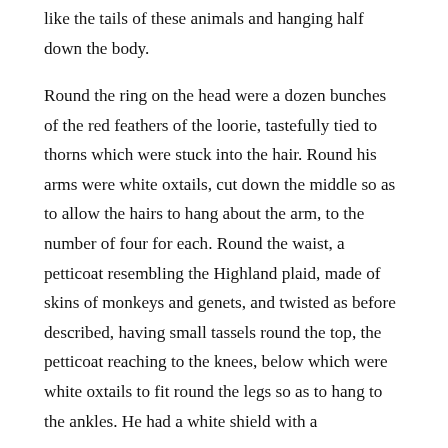like the tails of these animals and hanging half down the body.
Round the ring on the head were a dozen bunches of the red feathers of the loorie, tastefully tied to thorns which were stuck into the hair. Round his arms were white oxtails, cut down the middle so as to allow the hairs to hang about the arm, to the number of four for each. Round the waist, a petticoat resembling the Highland plaid, made of skins of monkeys and genets, and twisted as before described, having small tassels round the top, the petticoat reaching to the knees, below which were white oxtails to fit round the legs so as to hang to the ankles. He had a white shield with a